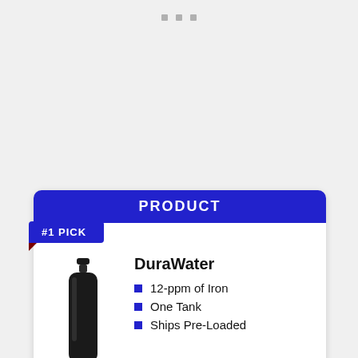[Figure (other): Three small grey square dots / indicators at the top center of the page]
PRODUCT
#1 PICK
DuraWater
[Figure (photo): Black cylindrical water filtration tank with a dark valve head on top]
12-ppm of Iron
One Tank
Ships Pre-Loaded